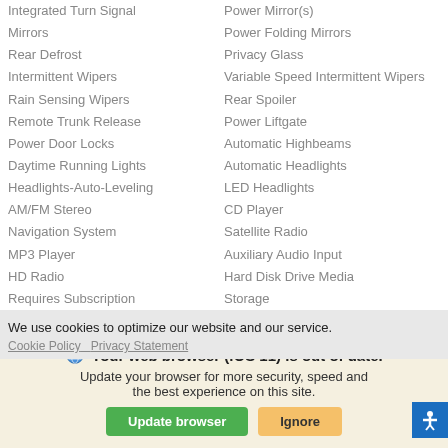Integrated Turn Signal
Power Mirror(s)
Mirrors
Power Folding Mirrors
Rear Defrost
Privacy Glass
Intermittent Wipers
Variable Speed Intermittent Wipers
Rain Sensing Wipers
Remote Trunk Release
Rear Spoiler
Power Door Locks
Power Liftgate
Daytime Running Lights
Automatic Highbeams
Headlights-Auto-Leveling
Automatic Headlights
AM/FM Stereo
LED Headlights
Navigation System
CD Player
MP3 Player
Satellite Radio
HD Radio
Auxiliary Audio Input
Requires Subscription
Hard Disk Drive Media
MP3 Player
Storage
We use cookies to optimize our website and our service.
Cookie Policy   Privacy Statement
Your web browser (iOS 11) is out of date. Update your browser for more security, speed and the best experience on this site.